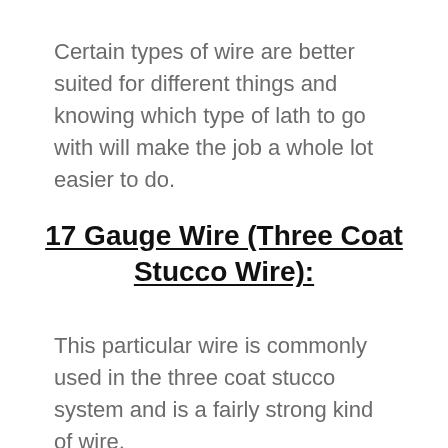Certain types of wire are better suited for different things and knowing which type of lath to go with will make the job a whole lot easier to do.
17 Gauge Wire (Three Coat Stucco Wire):
This particular wire is commonly used in the three coat stucco system and is a fairly strong kind of wire.